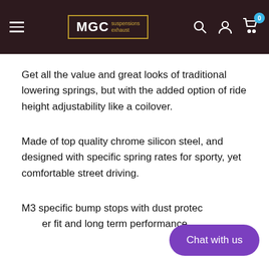MGC suspensions exhaust — navigation header with logo, search, account, cart
Get all the value and great looks of traditional lowering springs, but with the added option of ride height adjustability like a coilover.
Made of top quality chrome silicon steel, and designed with specific spring rates for sporty, yet comfortable street driving.
M3 specific bump stops with dust protec[tion for prop]er fit and long term performance.